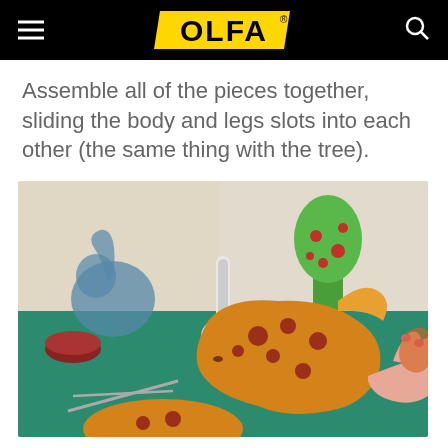OLFA
Assemble all of the pieces together, sliding the body and legs slots into each other (the same thing with the tree).
[Figure (photo): A person assembling colorful paper dinosaur craft pieces on a green cutting mat. Visible are orange dinosaur body pieces being held, green cactus/tree shapes, blue-green dinosaur, a white glue pen, and other craft supplies on the mat.]